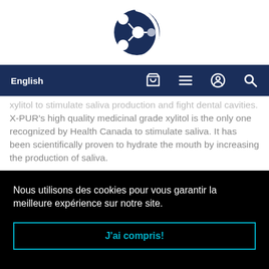[Figure (logo): Circular dark blue logo with white molecule/atom graphic and white partial circle]
English [cart icon] [menu icon] [person icon] [search icon]
xylitol to stimulate saliva production and fight dental cavities. X-PUR's high quality medicinal grade xylitol is the only one recognized by Health Canada to stimulate saliva. It has been scientifically proven to hydrate the mouth by increasing the production of saliva.
Nous utilisons des cookies pour vous garantir la meilleure expérience sur notre site.
J'ai compris!